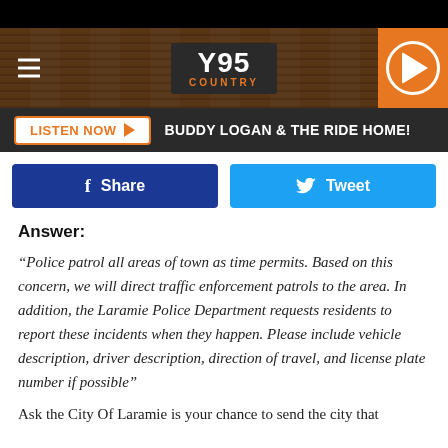[Figure (screenshot): Y95 Country radio station website header with logo, hamburger menu, play button, and Listen Now bar showing 'BUDDY LOGAN & THE RIDE HOME!']
[Figure (screenshot): Social share buttons: Facebook Share and Twitter Tweet]
Answer:
“Police patrol all areas of town as time permits. Based on this concern, we will direct traffic enforcement patrols to the area. In addition, the Laramie Police Department requests residents to report these incidents when they happen. Please include vehicle description, driver description, direction of travel, and license plate number if possible”
Ask the City Of Laramie is your chance to send the city that